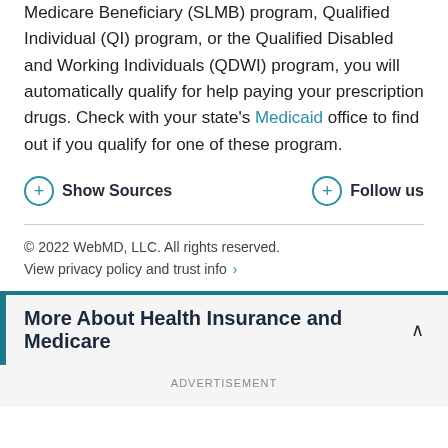Medicare Beneficiary (SLMB) program, Qualified Individual (QI) program, or the Qualified Disabled and Working Individuals (QDWI) program, you will automatically qualify for help paying your prescription drugs. Check with your state's Medicaid office to find out if you qualify for one of these program.
Show Sources
Follow us
© 2022 WebMD, LLC. All rights reserved.
View privacy policy and trust info
More About Health Insurance and Medicare
ADVERTISEMENT